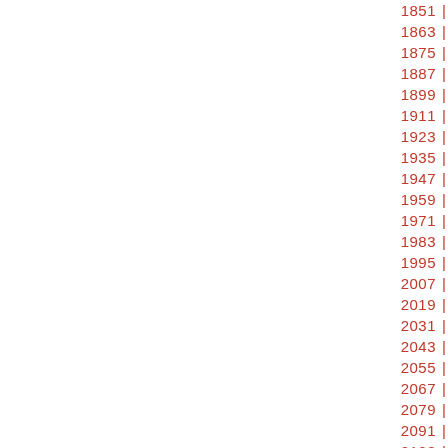Sequence of numbers from 1851 to 2104+ in rows of 3, separated by | delimiters, displayed in red, right-aligned starting from approximately the center-right of the page